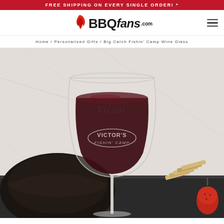FREE SHIPPING ON EVERY SINGLE ORDER! *
[Figure (logo): BBQFans.com logo with flame icon above BBQ letters and fans in italic]
Home / Personalized Gifts / Big Catch Fishin' Camp Wine Glass
[Figure (photo): A personalized wine glass filled with red wine, engraved with VICTOR'S FISHIN' CAMP, displayed with a dark bowl, crackers, and a strawberry on a slate surface against a white marble background]